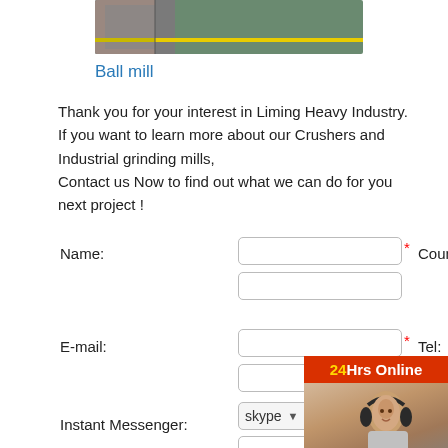[Figure (photo): Top portion of machinery photo showing green/teal surface with yellow stripe and gray metal parts]
Ball mill
Thank you for your interest in Liming Heavy Industry. If you want to learn more about our Crushers and Industrial grinding mills,
Contact us Now to find out what we can do for you next project !
Name:
Country:
E-mail:
Tel:
Instant Messenger:
[Figure (photo): 24Hrs Online chat widget with red header bar and photo of woman with headset]